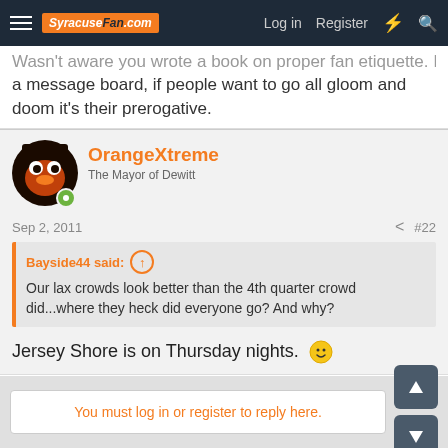SyracuseFan.com — Log in | Register
Wasn't aware you wrote a book on proper fan etiquette. It's a message board, if people want to go all gloom and doom it's their prerogative.
OrangeXtreme — The Mayor of Dewitt
Sep 2, 2011   #22
Bayside44 said: ↑  Our lax crowds look better than the 4th quarter crowd did...where they heck did everyone go? And why?
Jersey Shore is on Thursday nights. 🙂
You must log in or register to reply here.